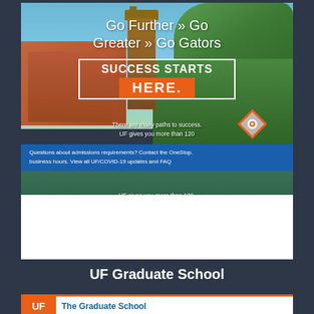[Figure (screenshot): Screenshot of University of Florida Graduate School webpage showing campus aerial photo with text 'Go Further » Go Greater » Go Gators', 'SUCCESS STARTS HERE.' with a blue notification banner about admissions requirements and OneStop contact, and a location icon overlay.]
UF Graduate School
[Figure (logo): UF The Graduate School logo bar with orange and blue colors]